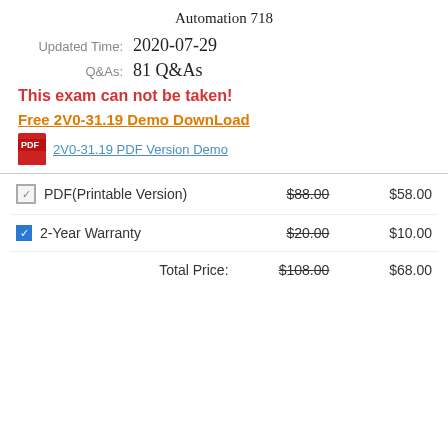Automation 718
Updated Time: 2020-07-29
Q&As: 81 Q&As
This exam can not be taken!
Free 2V0-31.19 Demo DownLoad
2V0-31.19 PDF Version Demo
|  |  |  |
| --- | --- | --- |
| PDF(Printable Version) | $88.00 | $58.00 |
| 2-Year Warranty | $20.00 | $10.00 |
| Total Price: | $108.00 | $68.00 |